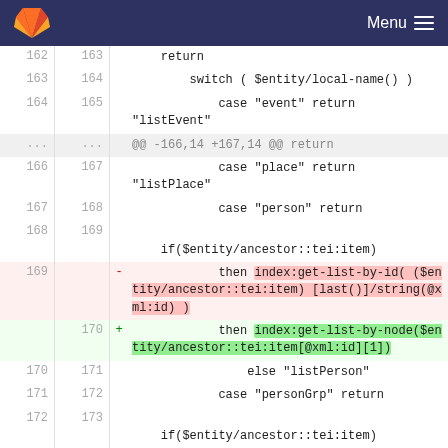GitLab — Menu
[Figure (screenshot): Code diff view showing lines 162-173 with one deleted block (line 169) and one added block (line 170). Deleted line uses index:get-list-by-id with string(@xml:id), added line uses index:get-list-by-node with @xml:id[1].]